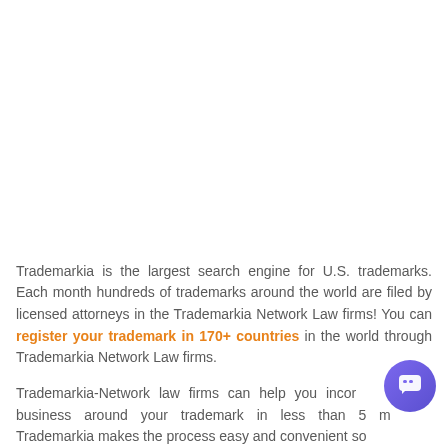Trademarkia is the largest search engine for U.S. trademarks. Each month hundreds of trademarks around the world are filed by licensed attorneys in the Trademarkia Network Law firms! You can register your trademark in 170+ countries in the world through Trademarkia Network Law firms.
Trademarkia-Network law firms can help you incorporate your business around your trademark in less than 5 minutes. Trademarkia makes the process easy and convenient so